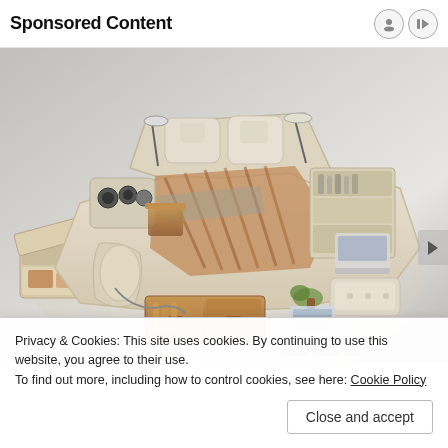Sponsored Content
[Figure (photo): A large multi-functional bed with cream/beige leather upholstery featuring built-in speakers, drawers, a massage chair attachment, reading lamps, shelving units, and what appears to be a laptop tray. The bed has a modern, futuristic design with numerous storage compartments open to display their contents. Background is light gray gradient.]
Privacy & Cookies: This site uses cookies. By continuing to use this website, you agree to their use.
To find out more, including how to control cookies, see here: Cookie Policy
Close and accept